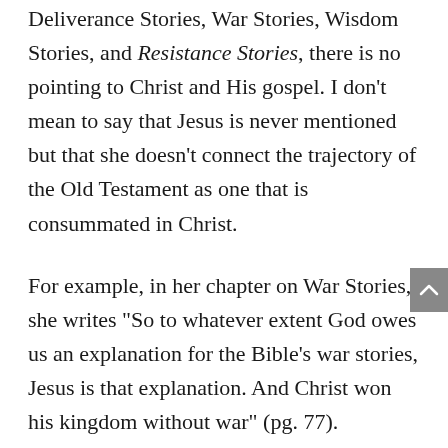Deliverance Stories, War Stories, Wisdom Stories, and Resistance Stories, there is no pointing to Christ and His gospel. I don’t mean to say that Jesus is never mentioned but that she doesn’t connect the trajectory of the Old Testament as one that is consummated in Christ.
For example, in her chapter on War Stories, she writes “So to whatever extent God owes us an explanation for the Bible’s war stories, Jesus is that explanation. And Christ won his kingdom without war” (pg. 77).